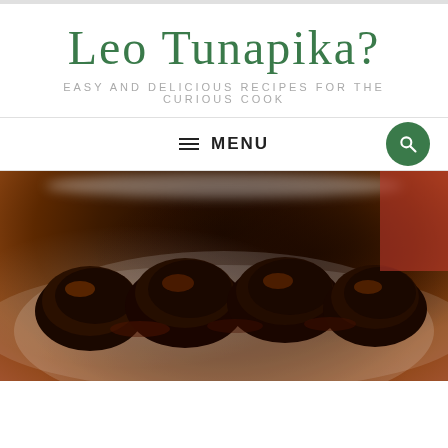Leo Tunapika?
EASY AND DELICIOUS RECIPES FOR THE CURIOUS COOK
≡ MENU
[Figure (photo): Close-up photo of dark glazed roasted chicken pieces on a white plate, appearing charred and caramelized]